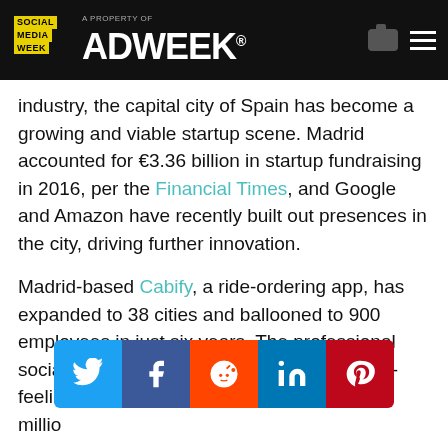Social Media Week – A Property of ADWEEK
industry, the capital city of Spain has become a growing and viable startup scene. Madrid accounted for €3.36 billion in startup fundraising in 2016, per the Financial Times, and Google and Amazon have recently built out presences in the city, driving further innovation.
Madrid-based Cabify, a ride-ordering app, has expanded to 38 cities and ballooned to 900 employees in just six years. The professional social network beBee (think of it as a fresher-feeling LinkedIn), has more than 11 million...